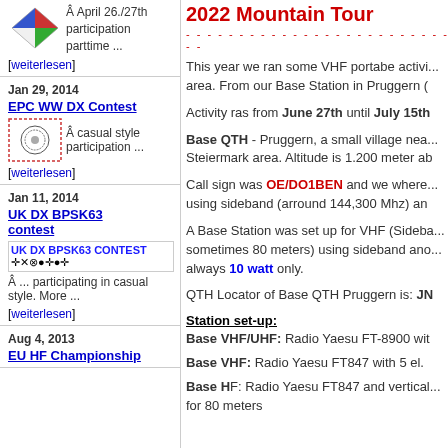[Figure (logo): Diamond/rhombus logo with colored quadrants (red, green, blue, white)]
Â April 26./27th participation parttime ...
[weiterlesen]
Jan 29, 2014
EPC WW DX Contest
[Figure (logo): EPC WW DX Contest logo - circular emblem with dashed border]
Â casual style participation ...
[weiterlesen]
Jan 11, 2014
UK DX BPSK63 contest
[Figure (logo): UK DX BPSK63 CONTEST banner with blue text and flag icons]
Â ... participating in casual style. More ...
[weiterlesen]
Aug 4, 2013
EU HF Championship
2022 Mountain Tour
This year we ran some VHF portabe activi... area. From our Base Station in Pruggern (
Activity ras from June 27th until July 15th
Base QTH - Pruggern, a small village nea... Steiermark area. Altitude is 1.200 meter ab
Call sign was OE/DO1BEN and we where... using sideband (arround 144,300 Mhz) an
A Base Station was set up for VHF (Sideba... sometimes 80 meters) using sideband ano... always 10 watt only.
QTH Locator of Base QTH Pruggern is: JN
Station set-up:
Base VHF/UHF: Radio Yaesu FT-8900 wit
Base VHF: Radio Yaesu FT847 with 5 el.
Base HF: Radio Yaesu FT847 and vertical... for 80 meters